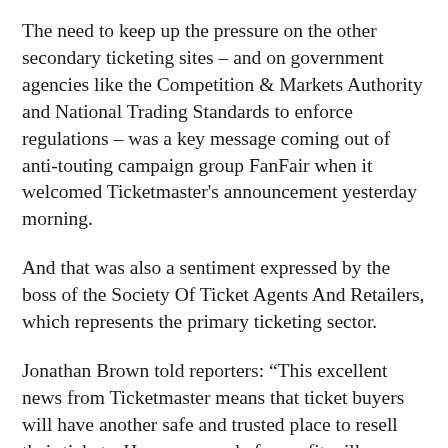The need to keep up the pressure on the other secondary ticketing sites – and on government agencies like the Competition & Markets Authority and National Trading Standards to enforce regulations – was a key message coming out of anti-touting campaign group FanFair when it welcomed Ticketmaster's announcement yesterday morning.
And that was also a sentiment expressed by the boss of the Society Of Ticket Agents And Retailers, which represents the primary ticketing sector.
Jonathan Brown told reporters: “This excellent news from Ticketmaster means that ticket buyers will have another safe and trusted place to resell their tickets. However, resale for profit will continue elsewhere and the spotlight is therefore on the remaining marketplaces, including those based overseas. The ongoing enforcement work by the Competition & Markets Authority and others to ensure compliance